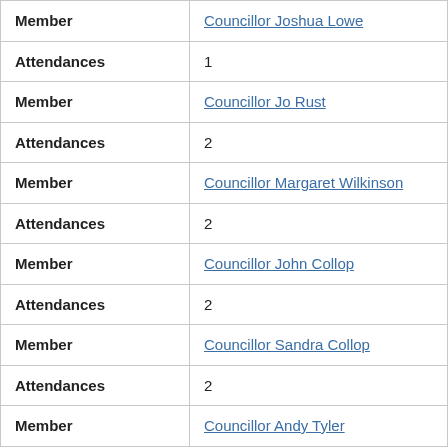| Field | Value |
| --- | --- |
| Member | Councillor Joshua Lowe |
| Attendances | 1 |
| Member | Councillor Jo Rust |
| Attendances | 2 |
| Member | Councillor Margaret Wilkinson |
| Attendances | 2 |
| Member | Councillor John Collop |
| Attendances | 2 |
| Member | Councillor Sandra Collop |
| Attendances | 2 |
| Member | Councillor Andy Tyler |